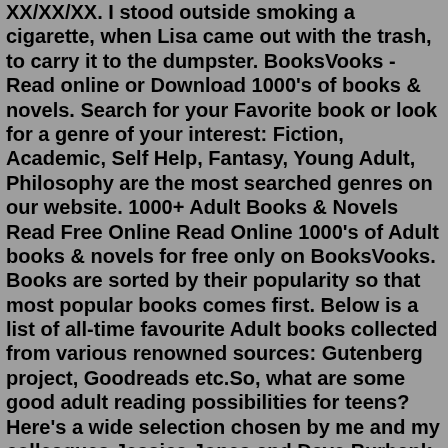XX/XX/XX. I stood outside smoking a cigarette, when Lisa came out with the trash, to carry it to the dumpster. BooksVooks - Read online or Download 1000's of books & novels. Search for your Favorite book or look for a genre of your interest: Fiction, Academic, Self Help, Fantasy, Young Adult, Philosophy are the most searched genres on our website. 1000+ Adult Books & Novels Read Free Online Read Online 1000's of Adult books & novels for free only on BooksVooks. Books are sorted by their popularity so that most popular books comes first. Below is a list of all-time favourite Adult books collected from various renowned sources: Gutenberg project, Goodreads etc.So, what are some good adult reading possibilities for teens? Here's a wide selection chosen by me and my colleagues Jessica Jones and Dave Burbank, as well as teens themselves: Librarian... dissect a sentence for me So, what are some good adult reading possibilities for teens? Here's a wide selection chosen by me and my colleagues Jessica Jones and Dave Burbank, as well as teens